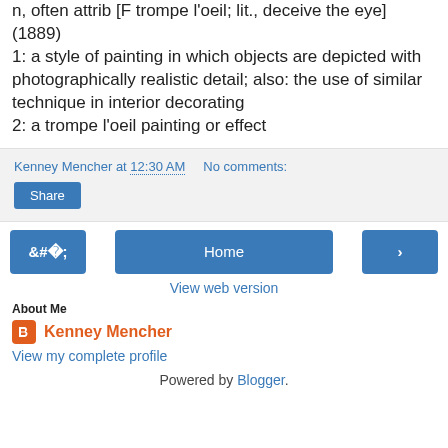n, often attrib [F trompe l'oeil; lit., deceive the eye] (1889)
1: a style of painting in which objects are depicted with photographically realistic detail; also: the use of similar technique in interior decorating
2: a trompe l'oeil painting or effect
Kenney Mencher at 12:30 AM   No comments:
Share
< Home >
View web version
About Me
Kenney Mencher
View my complete profile
Powered by Blogger.